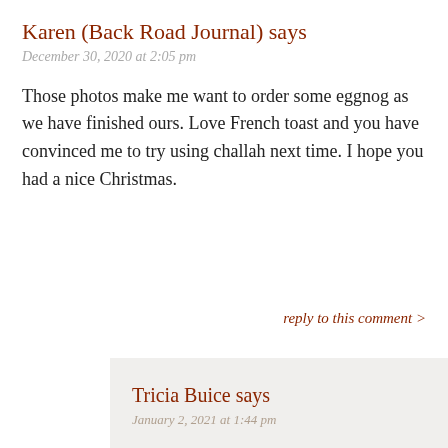Karen (Back Road Journal) says
December 30, 2020 at 2:05 pm
Those photos make me want to order some eggnog as we have finished ours. Love French toast and you have convinced me to try using challah next time. I hope you had a nice Christmas.
reply to this comment >
Tricia Buice says
January 2, 2021 at 1:44 pm